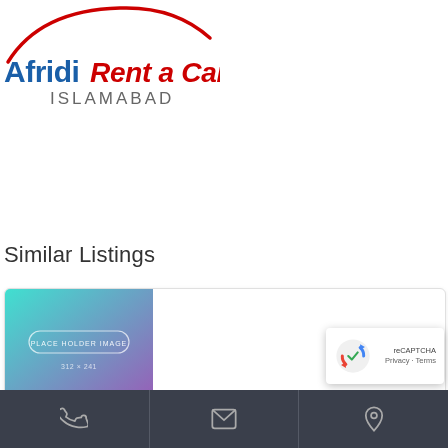[Figure (logo): Afridi Rent a Car Islamabad logo — red car silhouette arc above, blue 'Afridi' text, red italic 'Rent a Car' text, grey 'ISLAMABAD' subtitle]
Similar Listings
[Figure (photo): Placeholder image card with teal-to-purple gradient background and centered 'PLACE HOLDER IMAGE' label text]
Phone | Email | Location icons footer bar